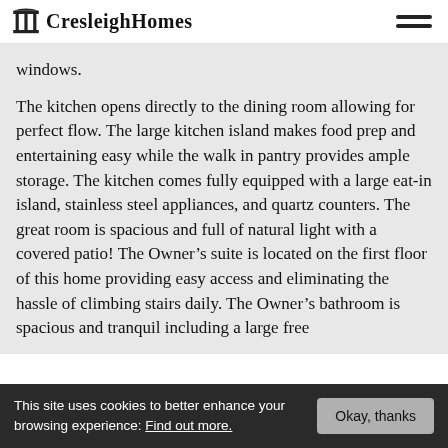CresleighHomes
windows.
The kitchen opens directly to the dining room allowing for perfect flow. The large kitchen island makes food prep and entertaining easy while the walk in pantry provides ample storage. The kitchen comes fully equipped with a large eat-in island, stainless steel appliances, and quartz counters. The great room is spacious and full of natural light with a covered patio! The Owner’s suite is located on the first floor of this home providing easy access and eliminating the hassle of climbing stairs daily. The Owner’s bathroom is spacious and tranquil including a large free
This site uses cookies to better enhance your browsing experience: Find out more.